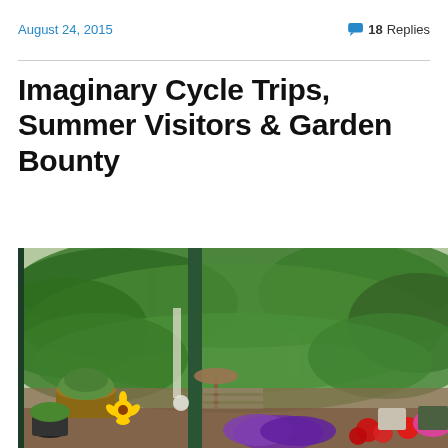August 24, 2015
18 Replies
Imaginary Cycle Trips, Summer Visitors & Garden Bounty
[Figure (photo): A lush garden viewed from a porch or covered area, showing colourful flowers in the foreground (reds, purples), potted plants, a birdbath, garden ornaments, and tall trees in the background.]